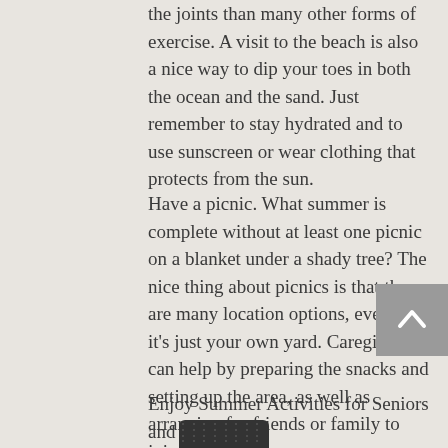the joints than many other forms of exercise. A visit to the beach is also a nice way to dip your toes in both the ocean and the sand. Just remember to stay hydrated and to use sunscreen or wear clothing that protects from the sun.
Have a picnic. What summer is complete without at least one picnic on a blanket under a shady tree? The nice thing about picnics is that there are many location options, even if it's just your own yard. Caregivers can help by preparing the snacks and setting up the area, as well as arranging for friends or family to join.
Enjoy Summer Activities for Seniors and Stay Safe!